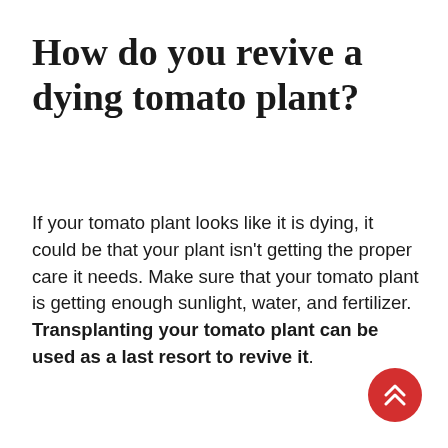How do you revive a dying tomato plant?
If your tomato plant looks like it is dying, it could be that your plant isn't getting the proper care it needs. Make sure that your tomato plant is getting enough sunlight, water, and fertilizer. Transplanting your tomato plant can be used as a last resort to revive it.